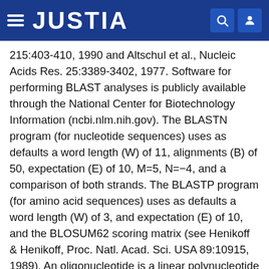JUSTIA
215:403-410, 1990 and Altschul et al., Nucleic Acids Res. 25:3389-3402, 1977. Software for performing BLAST analyses is publicly available through the National Center for Biotechnology Information (ncbi.nlm.nih.gov). The BLASTN program (for nucleotide sequences) uses as defaults a word length (W) of 11, alignments (B) of 50, expectation (E) of 10, M=5, N=−4, and a comparison of both strands. The BLASTP program (for amino acid sequences) uses as defaults a word length (W) of 3, and expectation (E) of 10, and the BLOSUM62 scoring matrix (see Henikoff & Henikoff, Proc. Natl. Acad. Sci. USA 89:10915, 1989). An oligonucleotide is a linear polynucleotide sequence of up to about 100 nucleotide bases in length.
ClustalW is a program that aligns three or more sequences in a computationally efficient manner (discuss...